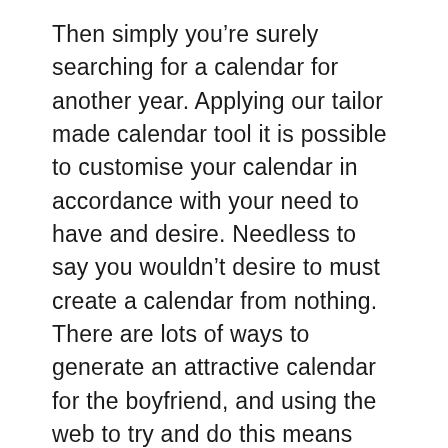Then simply you're surely searching for a calendar for another year. Applying our tailor made calendar tool it is possible to customise your calendar in accordance with your need to have and desire. Needless to say you wouldn't desire to must create a calendar from nothing. There are lots of ways to generate an attractive calendar for the boyfriend, and using the web to try and do this means you never need to take into account the neighborhood copy go shopping seeing your photographs. In the event that you must generate a unuque calendar in mere five minutes, pick an acceptable structure and design within the wizard. Obviously, additionally, you'll be able to make a calendar with a variety of pictures about the same side.